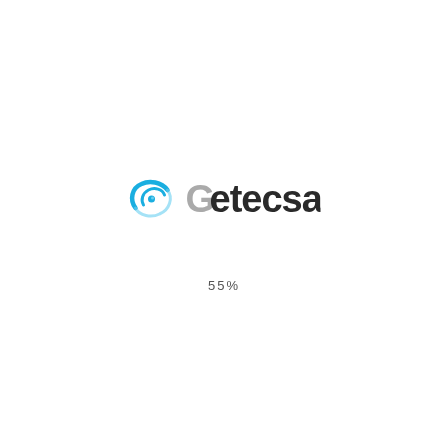[Figure (logo): Getecsa company logo: a blue swoosh/orbit graphic icon on the left, followed by the word 'Getecsa' in a bold sans-serif font where 'G' is light gray and the rest is dark charcoal/black]
55%